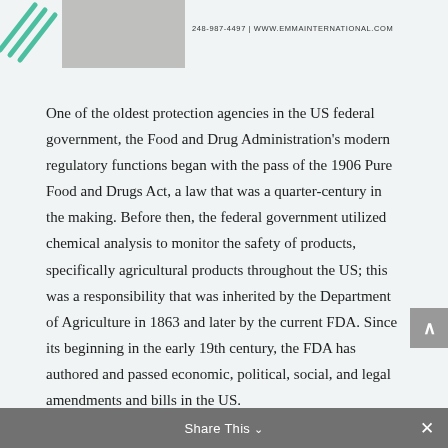[Figure (logo): Emma International logo with teal diagonal lines and a partial photo of a person]
248-987-4497 | WWW.EMMAINTERNATIONAL.COM
One of the oldest protection agencies in the US federal government, the Food and Drug Administration's modern regulatory functions began with the pass of the 1906 Pure Food and Drugs Act, a law that was a quarter-century in the making. Before then, the federal government utilized chemical analysis to monitor the safety of products, specifically agricultural products throughout the US; this was a responsibility that was inherited by the Department of Agriculture in 1863 and later by the current FDA. Since its beginning in the early 19th century, the FDA has authored and passed economic, political, social, and legal amendments and bills in the US.
Share This ∨  ×